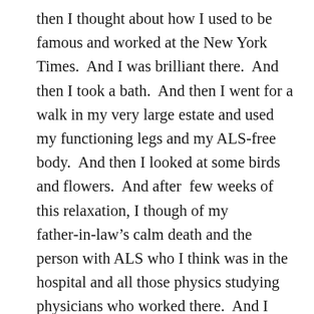then I thought about how I used to be famous and worked at the New York Times.  And I was brilliant there.  And then I took a bath.  And then I went for a walk in my very large estate and used my functioning legs and my ALS-free body.  And then I looked at some birds and flowers.  And after  few weeks of this relaxation, I though of my father-in-law's calm death and the person with ALS who I think was in the hospital and all those physics studying physicians who worked there.  And I thought about how Stephen Hawking's choice was in a sense the opposite. His aim was to buy as much time as possible to watch his two children (Robert, Lucy and Timothy) grow up and to apparently do some more science